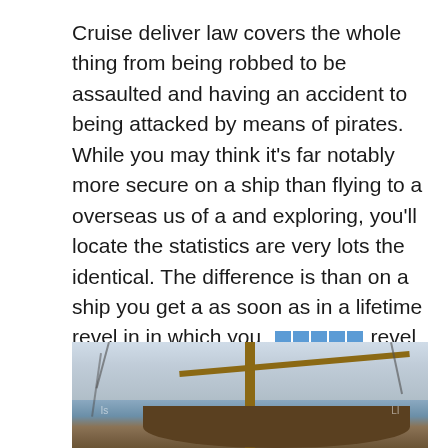Cruise deliver law covers the whole thing from being robbed to be assaulted and having an accident to being attacked by means of pirates. While you may think it's far notably more secure on a ship than flying to a overseas us of a and exploring, you'll locate the statistics are very lots the identical. The difference is than on a ship you get a as soon as in a lifetime revel in in which you [link] revel in lifestyles on board, travelling new countries and making new pals along the way.
[Figure (photo): A sailing boat or ship mast with rigging lines against a cloudy sky, with the wooden hull visible at the bottom]